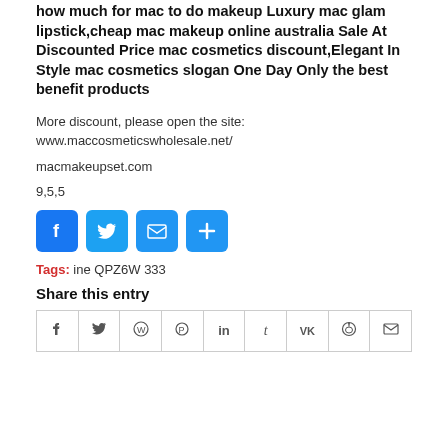how much for mac to do makeup Luxury mac glam lipstick,cheap mac makeup online australia Sale At Discounted Price mac cosmetics discount,Elegant In Style mac cosmetics slogan One Day Only the best benefit products
More discount, please open the site:
www.maccosmeticswholesale.net/
macmakeupset.com
9,5,5
[Figure (infographic): Social share buttons: Facebook (blue), Twitter (light blue), Email (blue), Plus/Share (blue)]
Tags: ine QPZ6W 333
Share this entry
| f | y | WhatsApp | Pinterest | in | t | VK | Reddit | Email |
| --- | --- | --- | --- | --- | --- | --- | --- | --- |
|  |  |  |  |  |  |  |  |  |